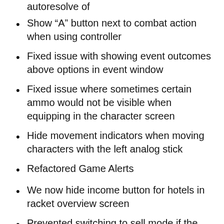autoresolve of
Show “A” button next to combat action when using controller
Fixed issue with showing event outcomes above options in event window
Fixed issue where sometimes certain ammo would not be visible when equipping in the character screen
Hide movement indicators when moving characters with the left analog stick
Refactored Game Alerts
We now hide income button for hotels in racket overview screen
Prevented switching to sell mode if the player